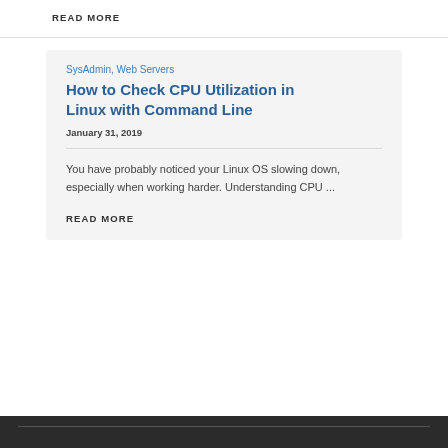READ MORE
SysAdmin, Web Servers
How to Check CPU Utilization in Linux with Command Line
January 31, 2019
You have probably noticed your Linux OS slowing down, especially when working harder. Understanding CPU ...
READ MORE